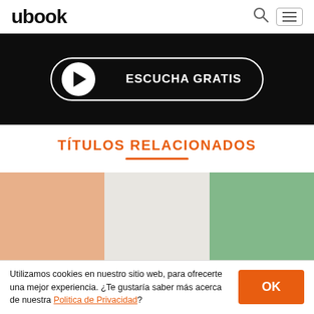ubook
[Figure (screenshot): Dark banner with 'ESCUCHA GRATIS' play button in rounded white border]
TÍTULOS RELACIONADOS
[Figure (illustration): Three book covers side by side: peach/salmon color, light gray color, sage green color]
Utilizamos cookies en nuestro sitio web, para ofrecerte una mejor experiencia. ¿Te gustaría saber más acerca de nuestra Politica de Privacidad?